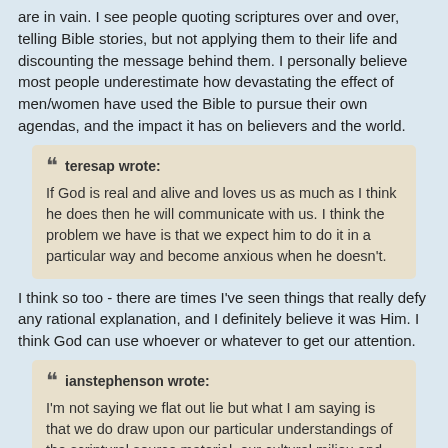are in vain. I see people quoting scriptures over and over, telling Bible stories, but not applying them to their life and discounting the message behind them. I personally believe most people underestimate how devastating the effect of men/women have used the Bible to pursue their own agendas, and the impact it has on believers and the world.
teresap wrote: If God is real and alive and loves us as much as I think he does then he will communicate with us. I think the problem we have is that we expect him to do it in a particular way and become anxious when he doesn't.
I think so too - there are times I've seen things that really defy any rational explanation, and I definitely believe it was Him. I think God can use whoever or whatever to get our attention.
ianstephenson wrote: I'm not saying we flat out lie but what I am saying is that we do draw upon our particular understandings of the scriptural source material, our cultural milieu and our past experiences to construct a meaningful context to give meaning to our lives.
Ian, I agree. I think this holds true for all of us, regardless of what you believe. These things are part of us and influences how we view the world and our beliefs. In another thread not too long ago, the issue of racism.